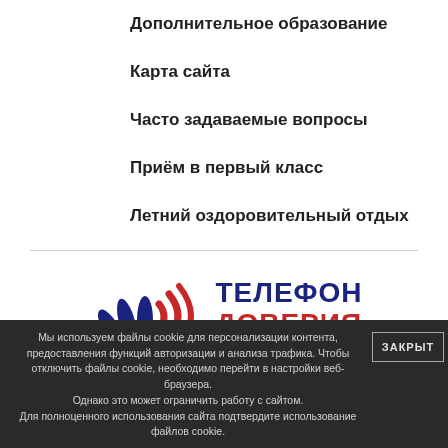Дополнительное образование
Карта сайта
Часто задаваемые вопросы
Приём в первый класс
Летний оздоровительный отдых
[Figure (logo): Телефон доверия logo with blue hand and red wifi signal graphic, text ТЕЛЕФОН ДОВЕРИЯ in blue and red]
Мы используем файлы cookie для персонализации контента, предоставления функций авторизации и анализа трафика. Чтобы отключить файлы cookie, необходимо перейти в настройки веб-браузера. Однако это может ограничить работу с сайтом. Для полноценного использования сайта подтвердите использование файлов cookie.